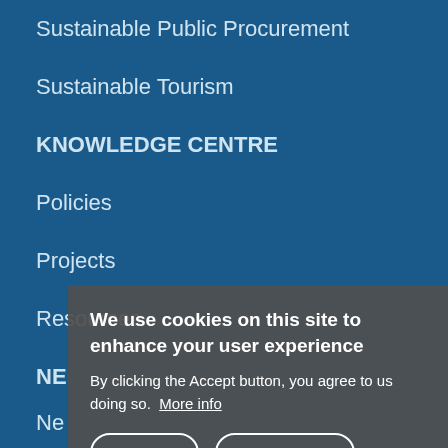Sustainable Public Procurement
Sustainable Tourism
KNOWLEDGE CENTRE
Policies
Projects
Resources
NE[ws partially hidden]
Ne[ws partially hidden]
Events
We[bsites partially hidden]
[Figure (screenshot): Cookie consent dialog overlay with title 'We use cookies on this site to enhance your user experience', body text 'By clicking the Accept button, you agree to us doing so. More info', and two buttons: ACCEPT and NO, THANKS]